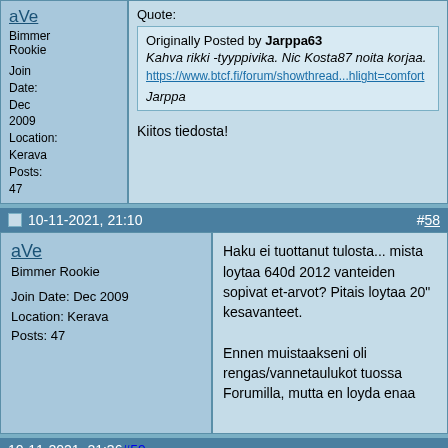aVe
Bimmer Rookie
Join Date: Dec 2009
Location: Kerava
Posts: 47
Quote:
Originally Posted by Jarppa63
Kahva rikki -tyyppivika. Nic Kosta87 noita korjaa.
https://www.btcf.fi/forum/showthread...hlight=comfort
Jarppa
Kiitos tiedosta!
10-11-2021, 21:10  #58
aVe
Bimmer Rookie
Join Date: Dec 2009
Location: Kerava
Posts: 47
Haku ei tuottanut tulosta... mista loytaa 640d 2012 vanteiden sopivat et-arvot? Pitais loytaa 20" kesavanteet.

Ennen muistaakseni oli rengas/vannetaulukot tuossa Forumilla, mutta en loyda enaa
10-11-2021, 21:36  #59
VilleP
https://www.wheel-size.com/size/bmw/6_series/